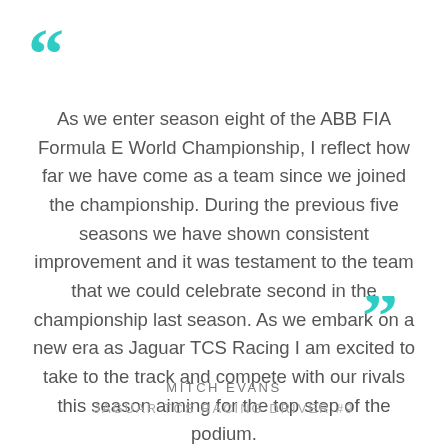As we enter season eight of the ABB FIA Formula E World Championship, I reflect how far we have come as a team since we joined the championship. During the previous five seasons we have shown consistent improvement and it was testament to the team that we could celebrate second in the championship last season. As we embark on a new era as Jaguar TCS Racing I am excited to take to the track and compete with our rivals this season aiming for the top step of the podium.
MITCH EVANS
JAGUAR TCS RACING DRIVER #9